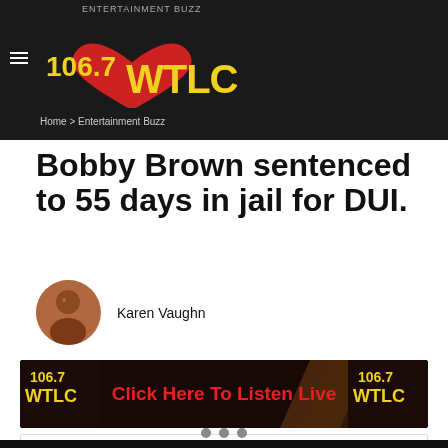ENTERTAINMENT BUZZ | Home > Entertainment Buzz | 106.7 WTLC
Bobby Brown sentenced to 55 days in jail for DUI.
Karen Vaughn
[Figure (screenshot): Click Here To Listen Live banner advertisement for 106.7 WTLC radio station with logo on both sides]